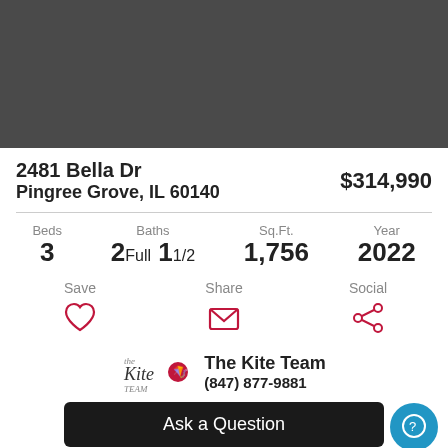[Figure (photo): Property photo placeholder - dark gray area]
2481 Bella Dr
Pingree Grove, IL 60140
$314,990
Beds: 3 | Baths: 2 Full 1 1/2 | Sq.Ft.: 1,756 | Year: 2022
Save | Share | Social
The Kite Team
(847) 877-9881
Ask a Question